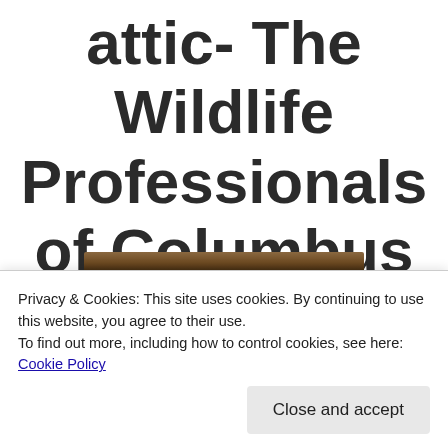attic- The Wildlife Professionals of Columbus Ohio 614-653-8547
Privacy & Cookies: This site uses cookies. By continuing to use this website, you agree to their use.
To find out more, including how to control cookies, see here: Cookie Policy
[Figure (photo): Partial photo of an animal (appears to be a cat or wild animal) visible at the bottom edge of the page]